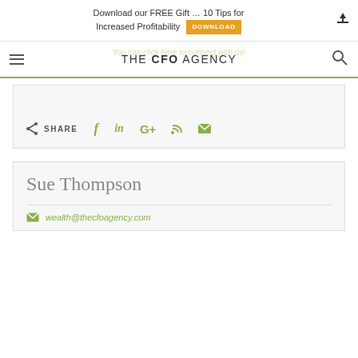Download our FREE Gift … 10 Tips for Increased Profitability DOWNLOAD
THE CFO AGENCY
You can click here to connect with us!
SHARE
Sue Thompson
wealth@thecfoagency.com